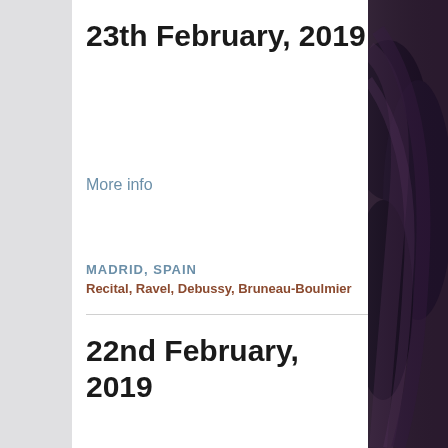23th February, 2019
More info
MADRID, SPAIN
Recital, Ravel, Debussy, Bruneau-Boulmier
22nd February, 2019
[Figure (photo): Partial view of a person with dark hair against a dark background, cropped to right edge of page]